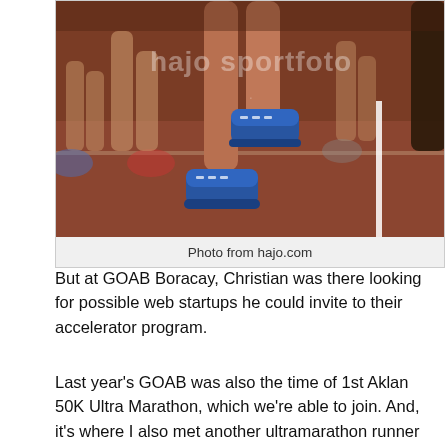[Figure (photo): Photo of runners on a red track, showing legs and running shoes mid-stride, with a watermark 'hajo sportfoto' overlaid. Runners wearing blue athletic shoes are prominent in the foreground.]
Photo from hajo.com
But at GOAB Boracay, Christian was there looking for possible web startups he could invite to their accelerator program.
Last year's GOAB was also the time of 1st Aklan 50K Ultra Marathon, which we're able to join. And, it's where I also met another ultramarathon runner who is running a technology